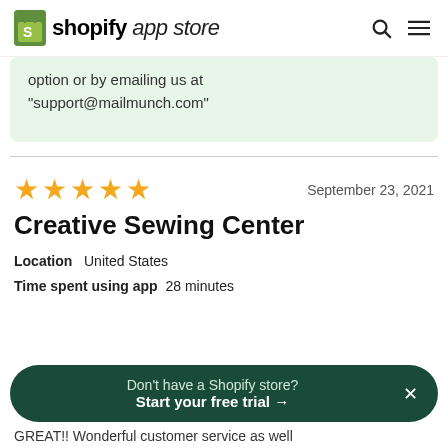shopify app store
option or by emailing us at "support@mailmunch.com"
September 23, 2021
★★★★★
Creative Sewing Center
Location   United States
Time spent using app   28 minutes
Don't have a Shopify store? Start your free trial →
GREAT!! Wonderful customer service as well